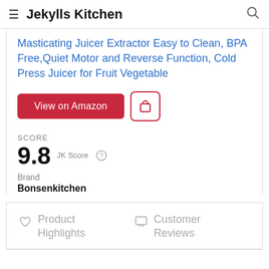Jekylls Kitchen
Masticating Juicer Extractor Easy to Clean, BPA Free,Quiet Motor and Reverse Function, Cold Press Juicer for Fruit Vegetable
View on Amazon
SCORE
9.8 JK Score
Brand
Bonsenkitchen
Product Highlights
Customer Reviews